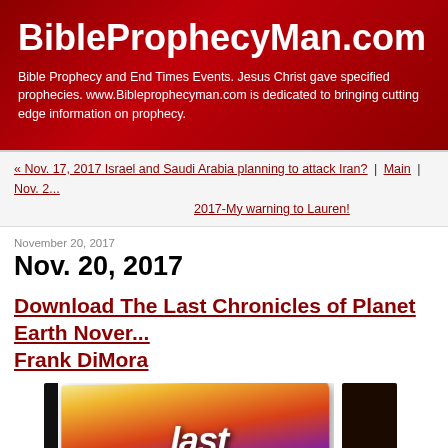BibleProphecyMan.com
Bible Prophecy and End Times Events. Jesus Christ gave specified prophecies. www.Bibleprophecyman.com is dedicated to bringing cutting edge information on prophecy.
« Nov. 17, 2017 Israel and Saudi Arabia planning to attack Iran? | Main | Nov. 2... 2017-My warning to Lauren!
November 20, 2017
Nov. 20, 2017
Download The Last Chronicles of Planet Earth November... Frank DiMora
[Figure (photo): Book cover image for The Last Chronicles of Planet Earth by Frank DiMora, showing colorful dramatic cover art with dark sidebar, partially cropped]